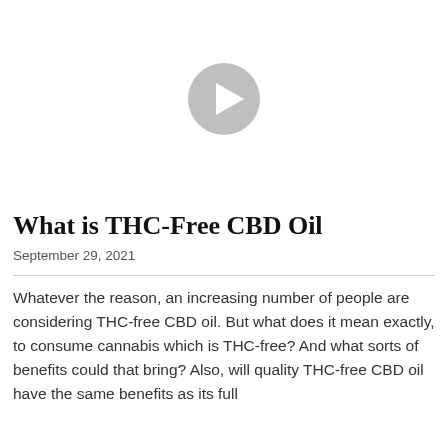[Figure (other): Video thumbnail placeholder with a circular play button icon centered on a white background]
What is THC-Free CBD Oil
September 29, 2021
Whatever the reason, an increasing number of people are considering THC-free CBD oil. But what does it mean exactly, to consume cannabis which is THC-free? And what sorts of benefits could that bring? Also, will quality THC-free CBD oil have the same benefits as its full